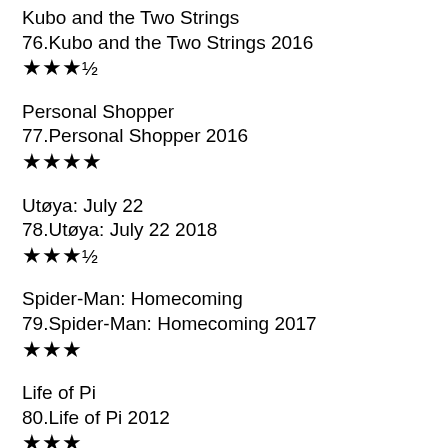Kubo and the Two Strings
76.Kubo and the Two Strings 2016
★★★½
Personal Shopper
77.Personal Shopper 2016
★★★★
Utøya: July 22
78.Utøya: July 22 2018
★★★½
Spider-Man: Homecoming
79.Spider-Man: Homecoming 2017
★★★
Life of Pi
80.Life of Pi 2012
★★★
Burning